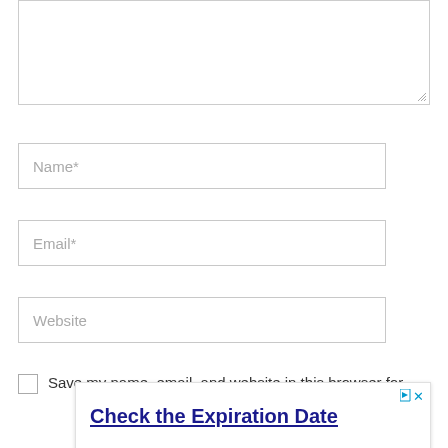[Figure (screenshot): Text area input box (comment field), partially visible at top of page with resize handle at bottom-right corner]
Name*
Email*
Website
Save my name, email, and website in this browser for
[Figure (screenshot): Advertisement overlay from U.S. Department of State with title 'Check the Expiration Date', body text 'Don't wait until the last minute. Check your passport's expiration before booking travel.', and a blue 'Open' button. Has close (x) and play/arrow icons at top right.]